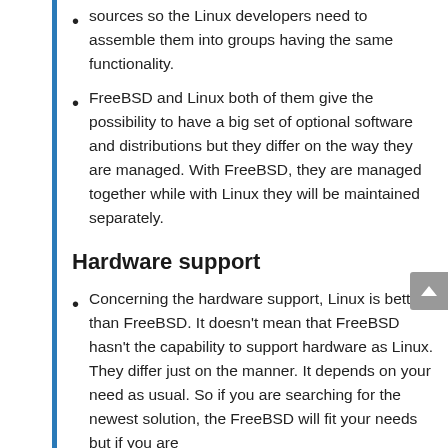sources so the Linux developers need to assemble them into groups having the same functionality.
FreeBSD and Linux both of them give the possibility to have a big set of optional software and distributions but they differ on the way they are managed. With FreeBSD, they are managed together while with Linux they will be maintained separately.
Hardware support
Concerning the hardware support, Linux is better than FreeBSD. It doesn't mean that FreeBSD hasn't the capability to support hardware as Linux. They differ just on the manner. It depends on your need as usual. So if you are searching for the newest solution, the FreeBSD will fit your needs but if you are